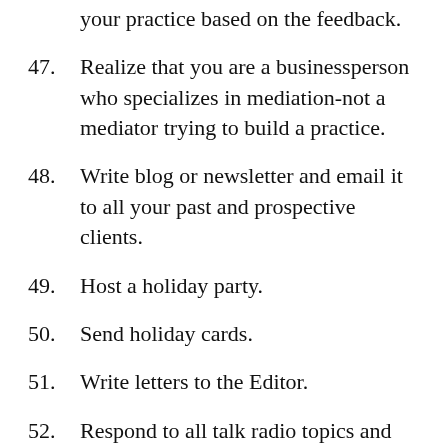your practice based on the feedback.
47. Realize that you are a businessperson who specializes in mediation-not a mediator trying to build a practice.
48. Write blog or newsletter and email it to all your past and prospective clients.
49. Host a holiday party.
50. Send holiday cards.
51. Write letters to the Editor.
52. Respond to all talk radio topics and